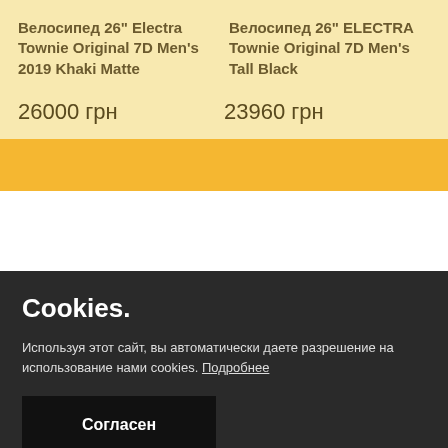Велосипед 26" Electra Townie Original 7D Men's 2019 Khaki Matte
Велосипед 26" ELECTRA Townie Original 7D Men's Tall Black
26000 грн
23960 грн
Cookies.
Используя этот сайт, вы автоматически даете разрешение на использование нами cookies. Подробнее
Согласен